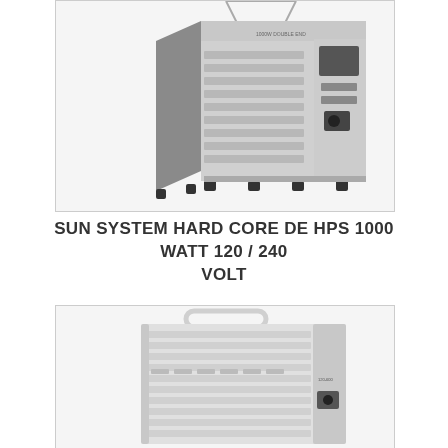[Figure (photo): A Sun System Hard Core DE HPS 1000 Watt ballast unit, white/gray metal housing with ventilation fins, shown at an angle with hanging cables visible at top, sitting on rubber feet. Digital display panel on right side.]
SUN SYSTEM HARD CORE DE HPS 1000 WATT 120 / 240 VOLT
[Figure (photo): A white Sun System Hard Core ballast unit shot from front/side showing ribbed white metal casing with handle on top, ventilation slots, and connectors on right side. Partially cropped.]